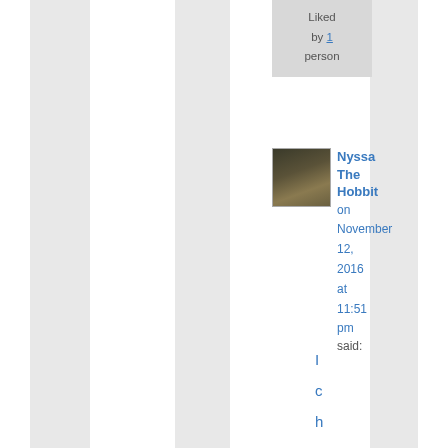Liked by 1 person
[Figure (photo): Small square avatar thumbnail showing a hobbit hole / round door scene]
Nyssa The Hobbit on November 12, 2016 at 11:51 pm said:
I check